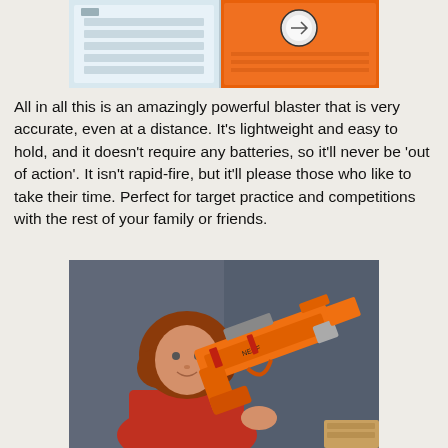[Figure (photo): Partial top image showing what appears to be Nerf darts/ammo packaging and orange packaging with a logo]
All in all this is an amazingly powerful blaster that is very accurate, even at a distance. It's lightweight and easy to hold, and it doesn't require any batteries, so it'll never be 'out of action'. It isn't rapid-fire, but it'll please those who like to take their time. Perfect for target practice and competitions with the rest of your family or friends.
[Figure (photo): A child with curly red/auburn hair wearing a red t-shirt, holding a large orange Nerf blaster gun in front of a blue/grey background]